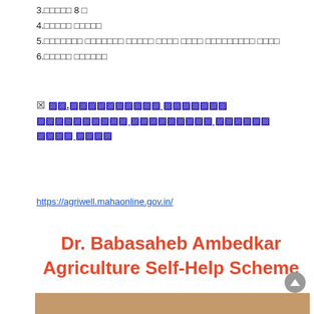3.□□□□□ 8 □
4.□□□□□ □□□□□
5.□□□□□□□ □□□□□□□ □□□□□ □□□□ □□□□ □□□□□□□□□ □□□□
6.□□□□□ □□□□□□
☒ □□.□□□□□□□□□□ □□□□□□□ □□□□□□□□□□ □□□□□□□□□ □□□□□ □□□□ □□□□
https://agriwell.mahaonline.gov.in/
Dr. Babasaheb Ambedkar Agriculture Self-Help Scheme
[Figure (photo): Photo of a person at the bottom of the page, partially visible, brown/tan background]